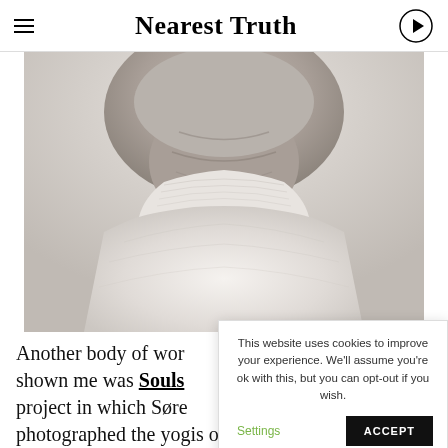Nearest Truth
[Figure (photo): Black and white close-up photograph of an elderly person's neck and chin area, wearing a white turtleneck sweater. The image is cropped to show only the lower face/neck/upper chest region.]
Another body of work he shown me was Souls project in which Søre photographed the yogis of Mount Abu in
This website uses cookies to improve your experience. We'll assume you're ok with this, but you can opt-out if you wish.